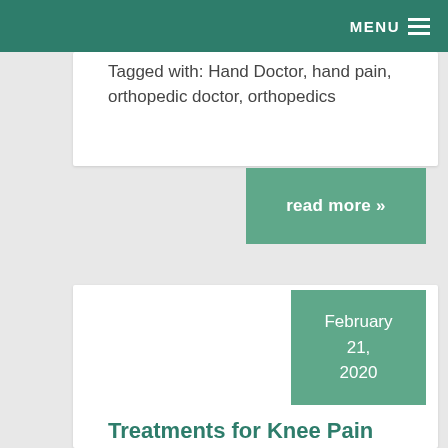MENU
Tagged with: Hand Doctor, hand pain, orthopedic doctor, orthopedics
read more »
February 21, 2020
Treatments for Knee Pain